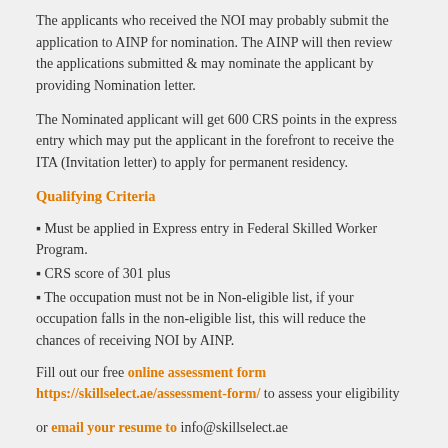The applicants who received the NOI may probably submit the application to AINP for nomination. The AINP will then review the applications submitted & may nominate the applicant by providing Nomination letter.
The Nominated applicant will get 600 CRS points in the express entry which may put the applicant in the forefront to receive the ITA (Invitation letter) to apply for permanent residency.
Qualifying Criteria
▪ Must be applied in Express entry in Federal Skilled Worker Program.
▪ CRS score of 301 plus
▪ The occupation must not be in Non-eligible list, if your occupation falls in the non-eligible list, this will reduce the chances of receiving NOI by AINP.
Fill out our free online assessment form https://skillselect.ae/assessment-form/ to assess your eligibility
or email your resume to info@skillselect.ae